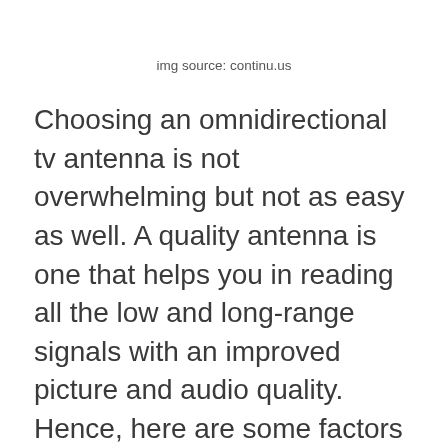img source: continu.us
Choosing an omnidirectional tv antenna is not overwhelming but not as easy as well. A quality antenna is one that helps you in reading all the low and long-range signals with an improved picture and audio quality. Hence, here are some factors you must look into while buying the best omnidirectional tv antennas;